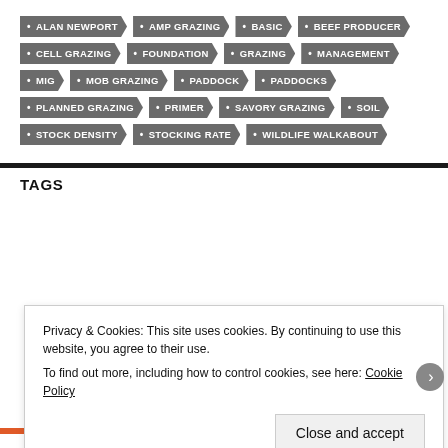ALAN NEWPORT • AMP GRAZING • BASIC • BEEF PRODUCER • CELL GRAZING • FOUNDATION • GRAZING • MANAGEMENT • MIG • MOB GRAZING • PADDOCK • PADDOCKS • PLANNED GRAZING • PRIMER • SAVORY GRAZING • SOIL • STOCK DENSITY • STOCKING RATE • WILDLIFE WALKABOUT
TAGS
Privacy & Cookies: This site uses cookies. By continuing to use this website, you agree to their use.
To find out more, including how to control cookies, see here: Cookie Policy
Close and accept